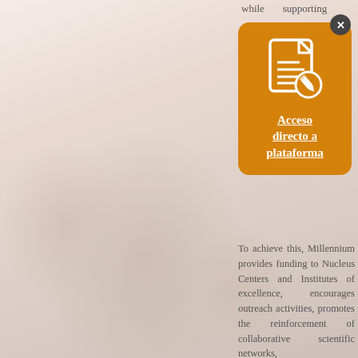while supporting
[Figure (illustration): Orange rounded rectangle card with a document/edit icon (white line art: document with lines and a pencil-in-circle badge). Contains bold underlined white text 'Acceso directo a plataforma'. A dark circular close button with X is in the top-right corner.]
To achieve this, Millennium provides funding to Nucleus Centers and Institutes of excellence, encourages outreach activities, promotes the reinforcement of collaborative scientific networks,